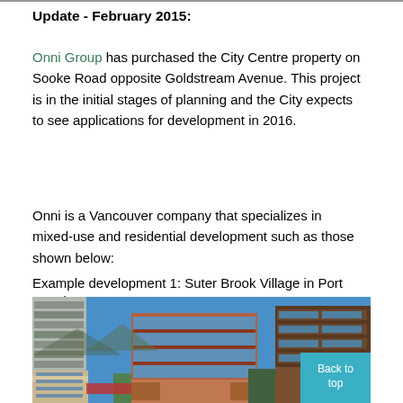Update - February 2015:
Onni Group has purchased the City Centre property on Sooke Road opposite Goldstream Avenue. This project is in the initial stages of planning and the City expects to see applications for development in 2016.
Onni is a Vancouver company that specializes in mixed-use and residential development such as those shown below:
Example development 1: Suter Brook Village in Port Moody
[Figure (photo): Photograph of Suter Brook Village in Port Moody showing mixed-use development buildings including a modern glass and brick office/residential tower against a blue sky, with retail storefronts at street level and a teal 'Back to top' button overlay in the bottom right corner.]